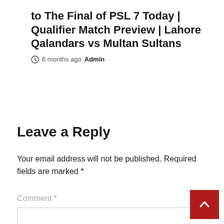to The Final of PSL 7 Today | Qualifier Match Preview | Lahore Qalandars vs Multan Sultans
6 months ago  Admin
Leave a Reply
Your email address will not be published. Required fields are marked *
Comment *